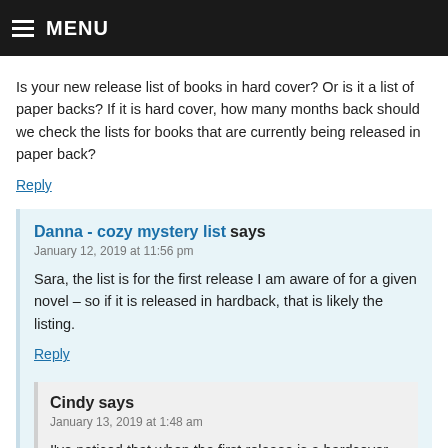MENU
Is your new release list of books in hard cover? Or is it a list of paper backs? If it is hard cover, how many months back should we check the lists for books that are currently being released in paper back?
Reply
Danna - cozy mystery list says
January 12, 2019 at 11:56 pm
Sara, the list is for the first release I am aware of for a given novel – so if it is released in hardback, that is likely the listing.
Reply
Cindy says
January 13, 2019 at 1:48 am
I've noticed that when the first release is a hardcover,